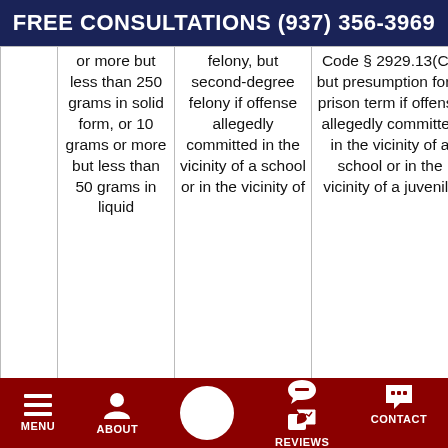FREE CONSULTATIONS (937) 356-3969
|  | Amount | Offense Level | Penalty |
| --- | --- | --- | --- |
|  | or more but less than 250 grams in solid form, or 10 grams or more but less than 50 grams in liquid | felony, but second-degree felony if offense allegedly committed in the vicinity of a school or in the vicinity of a juvenile | Code § 2929.13(C), but presumption for a prison term if offense allegedly committed in the vicinity of a school or in the vicinity of a juvenile |
MENU  ABOUT  [phone]  REVIEWS  CONTACT